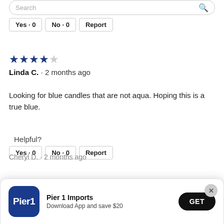Yes · 0   No · 0   Report
★★★★☆
Linda C. · 2 months ago
Looking for blue candles that are not aqua. Hoping this is a true blue.
Helpful?
Yes · 0   No · 0   Report
[Figure (screenshot): Pier 1 Imports app download banner overlay with logo, text 'Download App and save $20', and GET button]